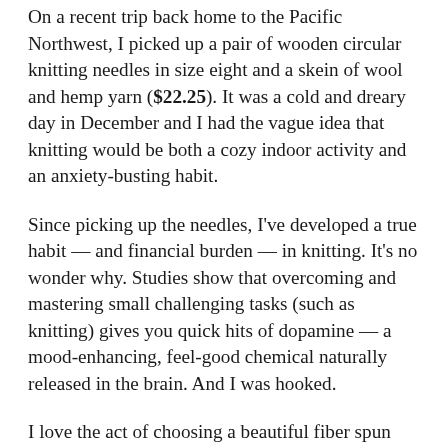On a recent trip back home to the Pacific Northwest, I picked up a pair of wooden circular knitting needles in size eight and a skein of wool and hemp yarn ($22.25). It was a cold and dreary day in December and I had the vague idea that knitting would be both a cozy indoor activity and an anxiety-busting habit.
Since picking up the needles, I've developed a true habit — and financial burden — in knitting. It's no wonder why. Studies show that overcoming and mastering small challenging tasks (such as knitting) gives you quick hits of dopamine — a mood-enhancing, feel-good chemical naturally released in the brain. And I was hooked.
I love the act of choosing a beautiful fiber spun into threads of yarn, to be stitched into an actual, tangible fabric — by me, no less! The lure of DIY-ing hearkens back to an imaginary-but-simpler time of simpler needs and frugality. The idea of connecting with the craft of making fabric...